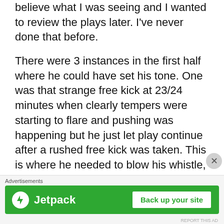believe what I was seeing and I wanted to review the plays later. I've never done that before.
There were 3 instances in the first half where he could have set his tone. One was that strange free kick at 23/24 minutes when clearly tempers were starting to flare and pushing was happening but he just let play continue after a rushed free kick was taken. This is where he needed to blow his whistle, issue stern words to all players to cool it, and show some authority.
Advertisements
[Figure (logo): Jetpack advertisement banner with green background, Jetpack logo on the left and 'Back up your site' button on the right]